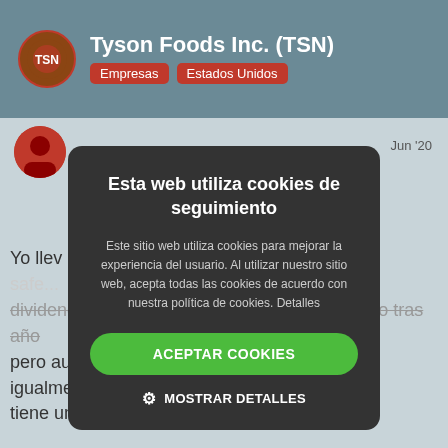Tyson Foods Inc. (TSN)
Empresas
Estados Unidos
[Figure (screenshot): Cookie consent modal dialog on a Spanish-language finance website showing Tyson Foods Inc. (TSN) page. Modal titled 'Esta web utiliza cookies de seguimiento' with accept and details buttons.]
Este sitio web utiliza cookies para mejorar la experiencia del usuario. Al utilizar nuestro sitio web, acepta todas las cookies de acuerdo con nuestra política de cookies. Detalles
ACEPTAR COOKIES
MOSTRAR DETALLES
Yo llev buena very safe... dividendos, pero a la vez a los subiéndolos año tras año pero aumentando su payout. Quitando eso, igualmente tiene un payout bastante bajo.
Jun '20